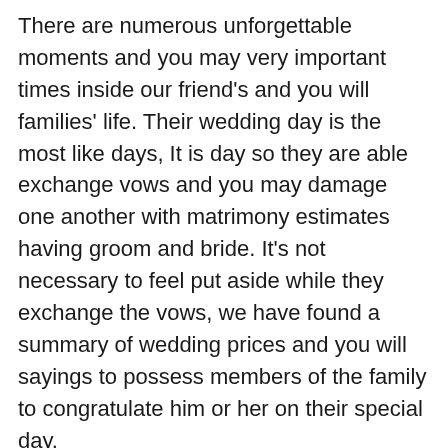There are numerous unforgettable moments and you may very important times inside our friend's and you will families' life. Their wedding day is the most like days, It is day so they are able exchange vows and you may damage one another with matrimony estimates having groom and bride. It's not necessary to feel put aside while they exchange the vows, we have found a summary of wedding prices and you will sayings to possess members of the family to congratulate him or her on their special day.
121. Most of us you desire a new person in our life, which understand united states, exactly who cares for people and start to become with our company aside from some thing. I'm delighted you've got eventually learned that person. Done well!
122. Viewing your look oddly and you may mentioning